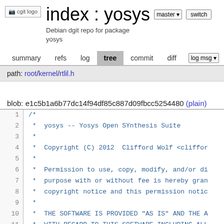[Figure (logo): cgit logo image placeholder]
index : yosys
Debian dgit repo for package yosys
summary  refs  log  tree  commit  diff  log msg
path: root/kernel/rtlil.h
blob: e1c5b1a6b77dc14f94df85c887d09fbcc5254480 (plain)
1  /*
2   *  yosys -- Yosys Open SYnthesis Suite
3   *
4   *  Copyright (C) 2012  Clifford Wolf <cliffor
5   *
6   *  Permission to use, copy, modify, and/or di
7   *  purpose with or without fee is hereby gran
8   *  copyright notice and this permission notic
9   *
10  *  THE SOFTWARE IS PROVIDED "AS IS" AND THE A
11  *  WITH REGARD TO THIS SOFTWARE INCLUDING ALL
12  *  MERCHANTABILITY AND FITNESS. IN NO EVENT S
13  *  ANY SPECIAL, DIRECT, INDIRECT, OR CONSEQUE
14  *  WHATSOEVER RESULTING FROM LOSS OF USE, DAT
15  *  ACTION OF CONTRACT, NEGLIGENCE OR OTHER TO
16  *  OR IN CONNECTION WITH THE USE OR PERFORMAN